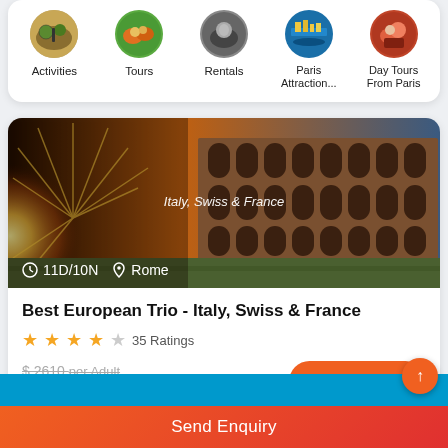[Figure (screenshot): Navigation category icons: Activities, Tours, Rentals, Paris Attraction..., Day Tours From Paris]
Activities
Tours
Rentals
Paris Attraction...
Day Tours From Paris
[Figure (photo): Image of the Roman Colosseum at sunset with text overlay 'Italy, Swiss & France']
11D/10N  Rome
Best European Trio - Italy, Swiss & France
★★★★☆ 35 Ratings
$ 2610 per Adult
$ 1940 per Adult
Send Enquiry
Send Enquiry